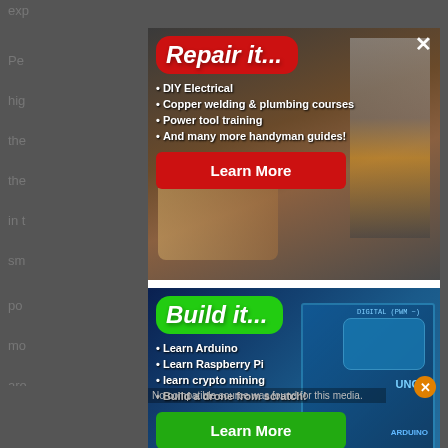[Figure (screenshot): Advertisement overlay: 'Repair it...' ad in red with bullet points: DIY Electrical, Copper welding & plumbing courses, Power tool training, And many more handyman guides! with a red Learn More button, over a photo of electrician hands working on wiring]
DIY Electrical
Copper welding & plumbing courses
Power tool training
And many more handyman guides!
[Figure (screenshot): Advertisement overlay: 'Build it...' ad in green with bullet points: Learn Arduino, Learn Raspberry Pi, learn crypto mining, Build a drone from scratch! with a green Learn More button, over a photo of Arduino UNO board]
Learn Arduino
Learn Raspberry Pi
learn crypto mining
Build a drone from scratch!
No compatible source was found for this media.
Top 7 Best Microcontherboard In